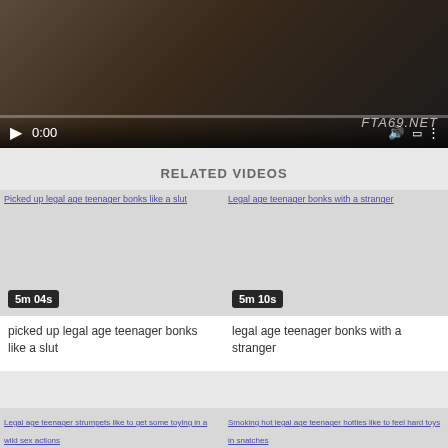[Figure (screenshot): Video player showing paused video at 0:00 with dark background, playback controls at bottom, watermark FTA69.NET]
RELATED VIDEOS
[Figure (screenshot): Video thumbnail placeholder for 'Picked up legal age teenager bonks like a slut', duration 5m 04s]
picked up legal age teenager bonks like a slut
[Figure (screenshot): Video thumbnail placeholder for 'Legal age teenager bonks with a stranger', duration 5m 10s]
legal age teenager bonks with a stranger
[Figure (screenshot): Video thumbnail placeholder for 'Legal age teenager strumpets like to get some toying in a wild sex actions']
[Figure (screenshot): Video thumbnail placeholder for 'Smoking hot legal age teenager hotties like to feel hard toys in snatches']